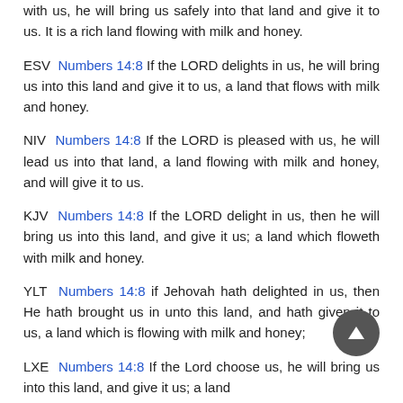with us, he will bring us safely into that land and give it to us. It is a rich land flowing with milk and honey.
ESV Numbers 14:8 If the LORD delights in us, he will bring us into this land and give it to us, a land that flows with milk and honey.
NIV Numbers 14:8 If the LORD is pleased with us, he will lead us into that land, a land flowing with milk and honey, and will give it to us.
KJV Numbers 14:8 If the LORD delight in us, then he will bring us into this land, and give it us; a land which floweth with milk and honey.
YLT Numbers 14:8 if Jehovah hath delighted in us, then He hath brought us in unto this land, and hath given it to us, a land which is flowing with milk and honey;
LXE Numbers 14:8 If the Lord choose us, he will bring us into this land, and give it us; a land